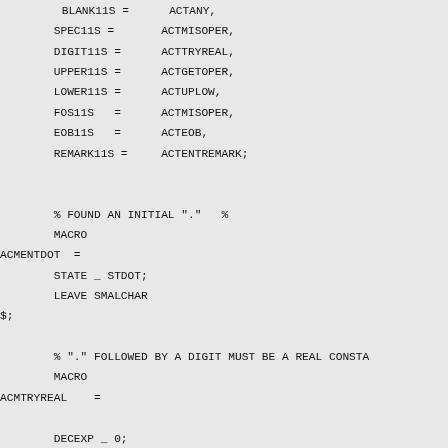BLANK11S =      ACTANY,
        SPEC11S =       ACTMISOPER,
        DIGIT11S =      ACTTRYREAL,
        UPPER11S =      ACTGETOPER,
        LOWER11S =      ACTUPLOW,
        FOS11S   =      ACTMISOPER,
        EOB11S   =      ACTEOB,
        REMARK11S =     ACTENTREMARK;


        % FOUND AN INITIAL "."   %
        MACRO
ACMENTDOT  =
        STATE _ STDOT;
        LEAVE SMALCHAR
$;

        % "." FOLLOWED BY A DIGIT MUST BE A REAL CONSTA
        MACRO
ACMTRYREAL    =

        DECEXP _ 0;
        INCREM _  -1;
        HIAC _ 0;
        LOAC _ 0;
        NAME _ .GCONTAB ;
        SYMTYPE _ GREAL<0,0>;
        CALLR ( STBLDDBLINT, STREALCON1 );
        LEAVE NEWSTATE
$;